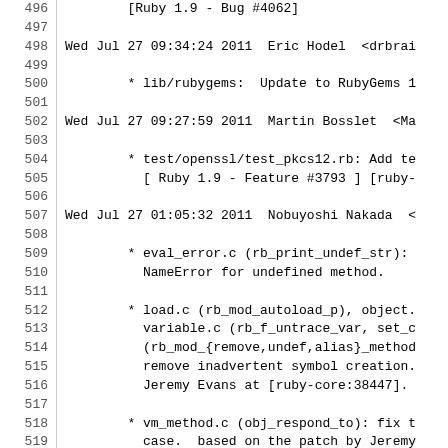Source code changelog/log view with line numbers 496-525. Shows git log entries for Ruby commits by Eric Hodel, Martin Bosslet, Nobuyoshi Nakada, and Kenta Murata on Wed Jul 27 2011.